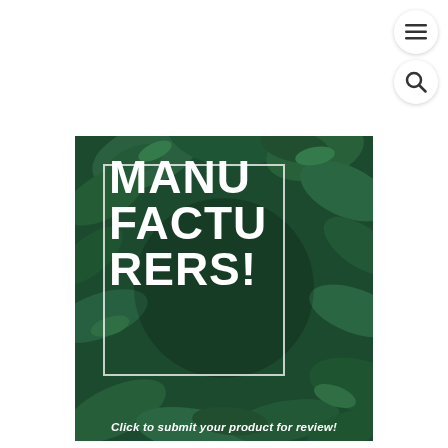[Figure (illustration): Menu (hamburger) icon button — white circle with three horizontal lines]
[Figure (illustration): Search icon button — white circle with magnifying glass icon]
[Figure (infographic): Promotional banner with green tropical leaf background. Large white bold text reads 'MANUFACTURERS!' inside a white square border outline. Below text reads 'Click to submit your product for review!']